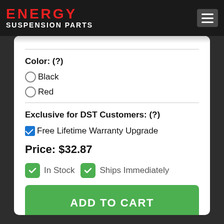ENERGY SUSPENSION PARTS
Color: (?)
Black
Red
Exclusive for DST Customers: (?)
Free Lifetime Warranty Upgrade
Price: $32.87
In Stock   Ships Immediately
ADD TO CART